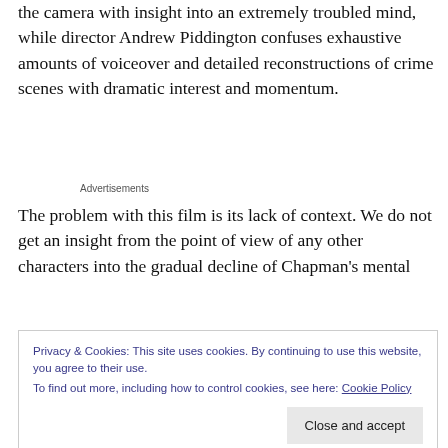the camera with insight into an extremely troubled mind, while director Andrew Piddington confuses exhaustive amounts of voiceover and detailed reconstructions of crime scenes with dramatic interest and momentum.
Advertisements
The problem with this film is its lack of context. We do not get an insight from the point of view of any other characters into the gradual decline of Chapman's mental
Privacy & Cookies: This site uses cookies. By continuing to use this website, you agree to their use.
To find out more, including how to control cookies, see here: Cookie Policy
Close and accept
...in life about himself. If Mark Chap...